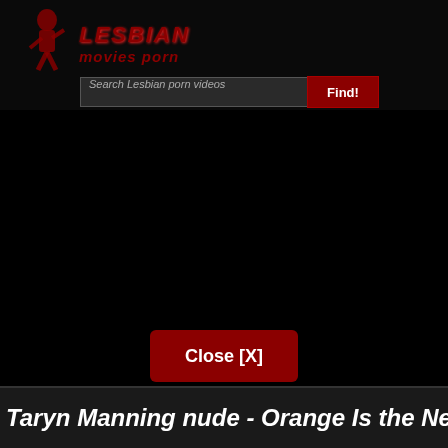[Figure (screenshot): Website header with logo showing a pin-up figure silhouette and red italic text 'LESBIAN Movies Porn', a search bar with input field and red 'Find' button, a large black area (video/ad space), a red 'Close [X]' button, and a partial page title at the bottom.]
Taryn Manning nude - Orange Is the New